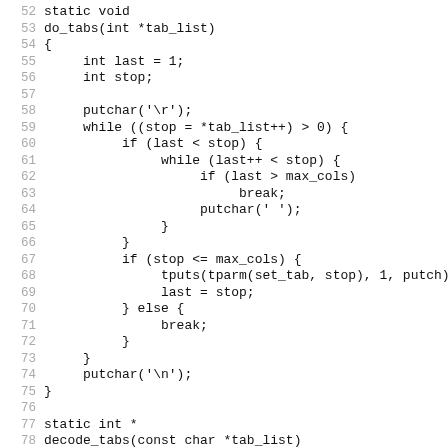Code listing lines 52–83 showing C functions do_tabs and decode_tabs